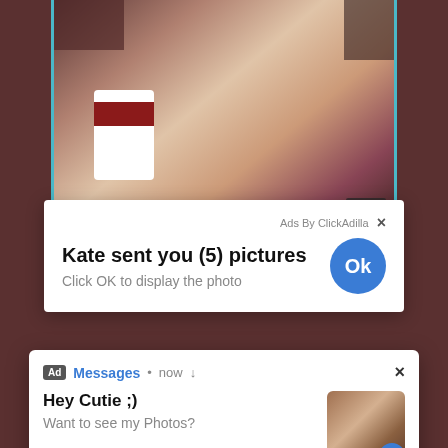[Figure (photo): Blurred/pixelated adult content image with teal border, timestamp 11:08 visible]
Ads By ClickAdilla ×
Kate sent you (5) pictures
Click OK to display the photo
Ok
Ad Messages • now ↓
Hey Cutie ;)
Want to see my Photos?
[Figure (photo): Small thumbnail image in notification]
a1h